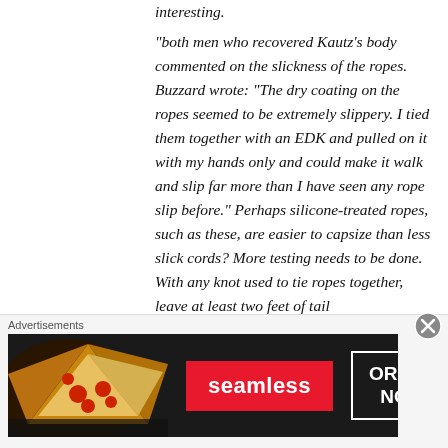interesting.
“both men who recovered Kautz’s body commented on the slickness of the ropes. Buzzard wrote: “The dry coating on the ropes seemed to be extremely slippery. I tied them together with an EDK and pulled on it with my hands only and could make it walk and slip far more than I have seen any rope slip before.” Perhaps silicone-treated ropes, such as these, are easier to capsize than less slick cords? More testing needs to be done. With any knot used to tie ropes together, leave at least two feet of tail
[Figure (other): Advertisement banner for Seamless food delivery service showing pizza image on left, red Seamless logo button in center, and white-bordered ORDER NOW button on right, on dark background. Labeled 'Advertisements' at top.]